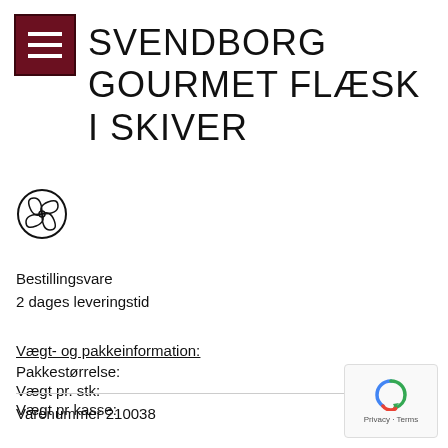[Figure (logo): Hamburger menu icon — three white horizontal lines on a dark red/maroon square background]
SVENDBORG GOURMET FLÆSK I SKIVER
[Figure (illustration): Circular fan/snowflake icon indicating frozen or chilled product]
Bestillingsvare
2 dages leveringstid
Vægt- og pakkeinformation:
Pakkestørrelse:
Vægt pr. stk:
Vægt pr kasse:
Varenummer 210038